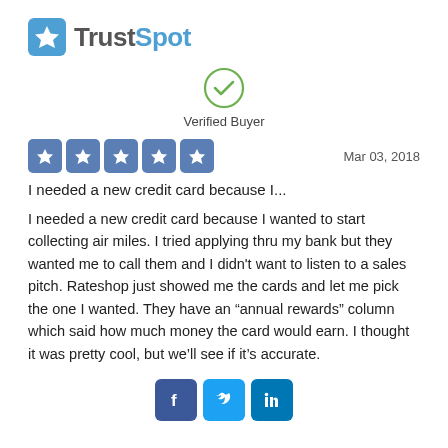[Figure (logo): TrustSpot logo with blue speech bubble star icon and text 'TrustSpot']
[Figure (illustration): Green circle with checkmark indicating Verified Buyer]
Verified Buyer
[Figure (illustration): 5 blue star rating boxes (5 out of 5 stars)]
Mar 03, 2018
I needed a new credit card because I...
I needed a new credit card because I wanted to start collecting air miles. I tried applying thru my bank but they wanted me to call them and I didn't want to listen to a sales pitch. Rateshop just showed me the cards and let me pick the one I wanted. They have an “annual rewards” column which said how much money the card would earn. I thought it was pretty cool, but we’ll see if it’s accurate.
[Figure (illustration): Facebook, Twitter, and LinkedIn social share icons]